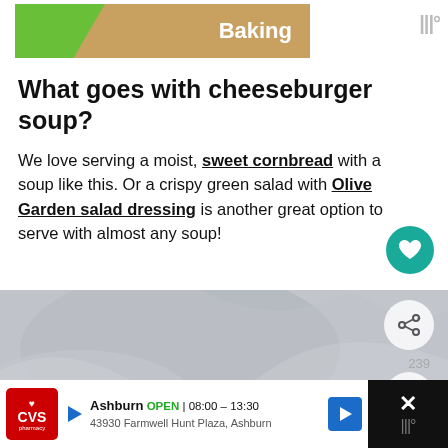[Figure (screenshot): Top advertisement banner with green gradient and 'Baking' text, with weather icon top right]
What goes with cheeseburger soup?
We love serving a moist, sweet cornbread with a soup like this. Or a crispy green salad with Olive Garden salad dressing is another great option to serve with almost any soup!
[Figure (photo): Blurred close-up photo of a bowl of soup with cloth/linen background, with social action buttons on the right (share, heart with count 239, search)]
[Figure (screenshot): Bottom advertisement for CVS Pharmacy in Ashburn - OPEN 08:00-13:30, 43930 Farmwell Hunt Plaza, Ashburn, with navigation arrow icon]